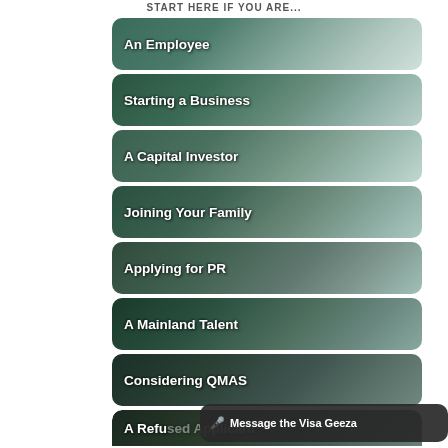START HERE IF YOU ARE...
An Employee
Starting a Business
A Capital Investor
Joining Your Family
Applying for PR
A Mainland Talent
Considering QMAS
A Refused Applicant
Message the Visa Geeza